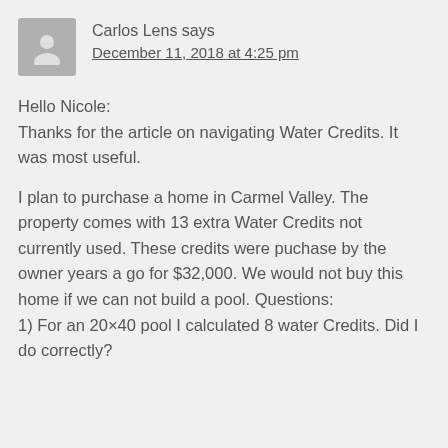Carlos Lens says
December 11, 2018 at 4:25 pm
Hello Nicole:
Thanks for the article on navigating Water Credits. It was most useful.
I plan to purchase a home in Carmel Valley. The property comes with 13 extra Water Credits not currently used. These credits were puchase by the owner years a go for $32,000. We would not buy this home if we can not build a pool. Questions:
1) For an 20×40 pool I calculated 8 water Credits. Did I do correctly?